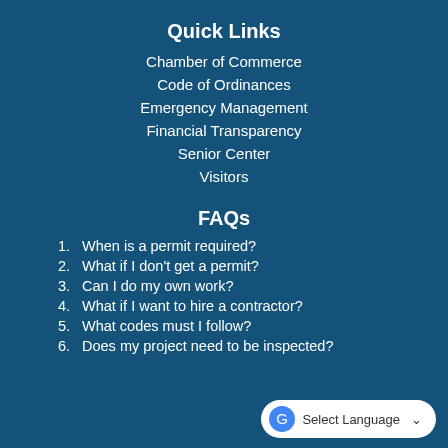Quick Links
Chamber of Commerce
Code of Ordinances
Emergency Management
Financial Transparency
Senior Center
Visitors
FAQs
1. When is a permit required?
2. What if I don't get a permit?
3. Can I do my own work?
4. What if I want to hire a contractor?
5. What codes must I follow?
6. Does my project need to be inspected?